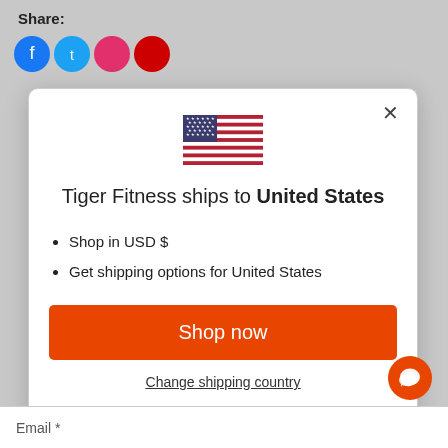Share:
[Figure (screenshot): Modal dialog for Tiger Fitness shipping country selection showing US flag, title, bullet points, Shop now button, and Change shipping country link]
Tiger Fitness ships to United States
Shop in USD $
Get shipping options for United States
Shop now
Change shipping country
Email *